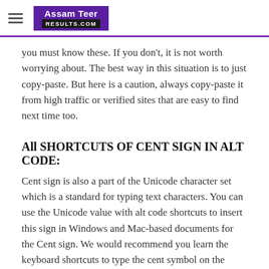Assam Teer RESULTS.COM
you must know these. If you don't, it is not worth worrying about. The best way in this situation is to just copy-paste. But here is a caution, always copy-paste it from high traffic or verified sites that are easy to find next time too.
All SHORTCUTS OF CENT SIGN IN ALT CODE:
Cent sign is also a part of the Unicode character set which is a standard for typing text characters. You can use the Unicode value with alt code shortcuts to insert this sign in Windows and Mac-based documents for the Cent sign. We would recommend you learn the keyboard shortcuts to type the cent symbol on the keyboard for both Mac and Windows.